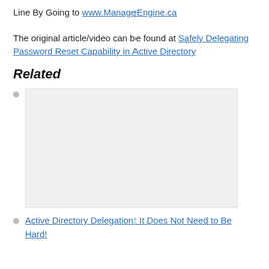Line By Going to www.ManageEngine.ca
The original article/video can be found at Safely Delegating Password Reset Capability in Active Directory
Related
[Figure (other): A grey placeholder image box for a related article thumbnail]
Active Directory Delegation: It Does Not Need to Be Hard!